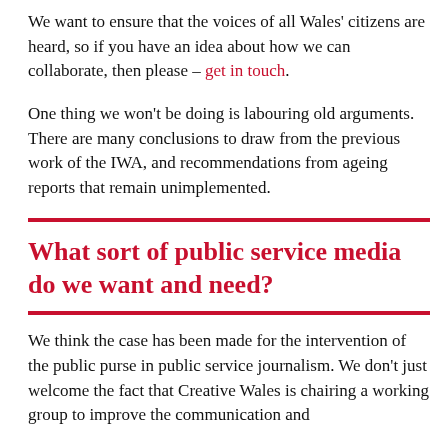We want to ensure that the voices of all Wales' citizens are heard, so if you have an idea about how we can collaborate, then please – get in touch.
One thing we won't be doing is labouring old arguments. There are many conclusions to draw from the previous work of the IWA, and recommendations from ageing reports that remain unimplemented.
What sort of public service media do we want and need?
We think the case has been made for the intervention of the public purse in public service journalism. We don't just welcome the fact that Creative Wales is chairing a working group to improve the communication and